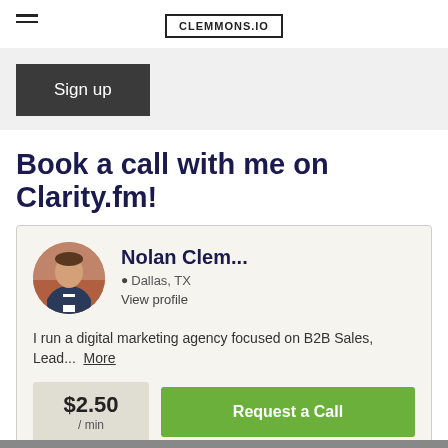CLEMMONS.IO
Sign up
Book a call with me on Clarity.fm!
Nolan Clem...
Dallas, TX
View profile
I run a digital marketing agency focused on B2B Sales, Lead... More
$2.50 / min
Request a Call